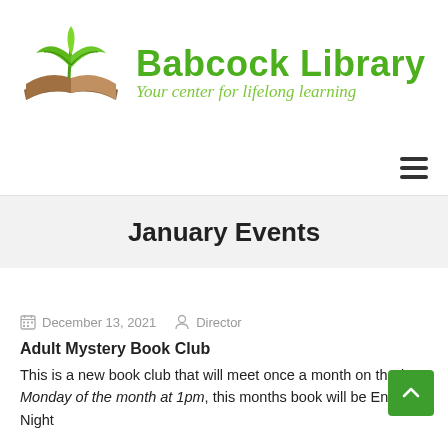[Figure (logo): Babcock Library logo: open book with green leaves growing from it, and text 'Babcock Library' with tagline 'Your center for lifelong learning']
January Events
December 13, 2021   Director
Adult Mystery Book Club
This is a new book club that will meet once a month on the last Monday of the month at 1pm, this months book will be Endless Night